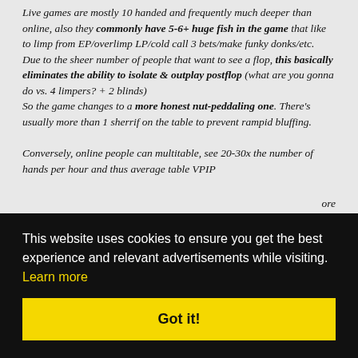Live games are mostly 10 handed and frequently much deeper than online, also they commonly have 5-6+ huge fish in the game that like to limp from EP/overlimp LP/cold call 3 bets/make funky donks/etc. Due to the sheer number of people that want to see a flop, this basically eliminates the ability to isolate & outplay postflop (what are you gonna do vs. 4 limpers? + 2 blinds) So the game changes to a more honest nut-peddaling one. There's usually more than 1 sherrif on the table to prevent rampid bluffing.

Conversely, online people can multitable, see 20-30x the number of hands per hour and thus average table VPIP
[Figure (screenshot): Cookie consent overlay banner with black background. Text reads: 'This website uses cookies to ensure you get the best experience and relevant advertisements while visiting. Learn more' with a yellow 'Got it!' button.]
that live poker is 10 handed and often times deep?